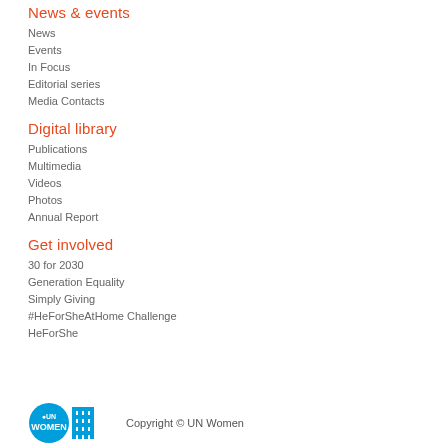News & events
News
Events
In Focus
Editorial series
Media Contacts
Digital library
Publications
Multimedia
Videos
Photos
Annual Report
Get involved
30 for 2030
Generation Equality
Simply Giving
#HeForSheAtHome Challenge
HeForShe
Copyright © UN Women